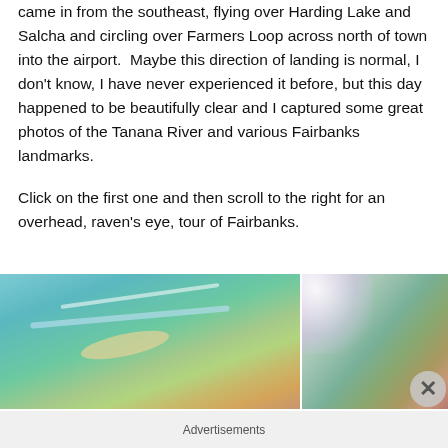came in from the southeast, flying over Harding Lake and Salcha and circling over Farmers Loop across north of town into the airport.  Maybe this direction of landing is normal, I don't know, I have never experienced it before, but this day happened to be beautifully clear and I captured some great photos of the Tanana River and various Fairbanks landmarks.
Click on the first one and then scroll to the right for an overhead, raven's eye, tour of Fairbanks.
[Figure (photo): Two aerial photographs side by side showing an overhead view of the Tanana River and Fairbanks area. The left photo shows a winding river with sandbars and green/teal landscape. The right photo is partially visible with a bright glare in the upper left corner and green landscape below.]
Advertisements